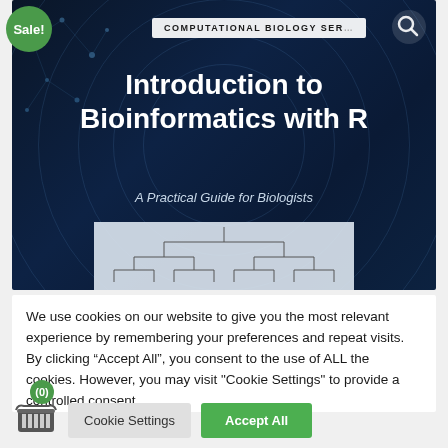[Figure (illustration): Book cover for 'Introduction to Bioinformatics with R: A Practical Guide for Biologists' from the Computational Biology Series, with dark navy background, concentric rings pattern, network dots, and a dendrogram at the bottom.]
We use cookies on our website to give you the most relevant experience by remembering your preferences and repeat visits. By clicking “Accept All”, you consent to the use of ALL the cookies. However, you may visit "Cookie Settings" to provide a controlled consent.